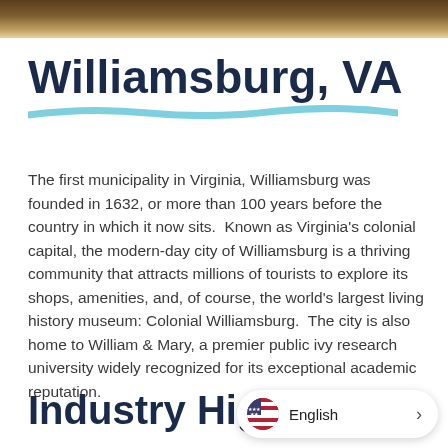[Figure (photo): Decorative header image strip with brown and golden nature/tree tones at the top of the page]
Williamsburg, VA
The first municipality in Virginia, Williamsburg was founded in 1632, or more than 100 years before the country in which it now sits.  Known as Virginia's colonial capital, the modern-day city of Williamsburg is a thriving community that attracts millions of tourists to explore its shops, amenities, and, of course, the world's largest living history museum: Colonial Williamsburg.  The city is also home to William & Mary, a premier public ivy research university widely recognized for its exceptional academic reputation.
Industry Highlights